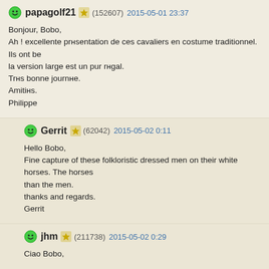papagolf21 (152607) 2015-05-01 23:37
Bonjour, Bobo,
Ah ! excellente prñsentation de ces cavaliers en costume traditionnel. Ils ont be la version large est un pur rñgal.
Trнs bonne journñe.
Amitiñs.
Philippe
Gerrit (62042) 2015-05-02 0:11
Hello Bobo,
Fine capture of these folkloristic dressed men on their white horses. The horses than the men.
thanks and regards.
Gerrit
jhm (211738) 2015-05-02 0:29
Ciao Bobo,
The red colours are a truly symbol of the May 1th celebration, the jackets of the picture very nice.
Also the horses are a nice subject to look at.
An excellent composition too.